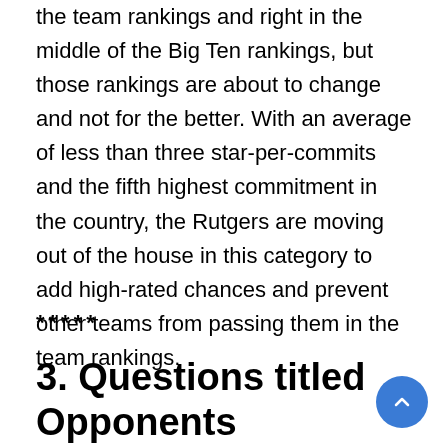the team rankings and right in the middle of the Big Ten rankings, but those rankings are about to change and not for the better. With an average of less than three star-per-commits and the fifth highest commitment in the country, the Rutgers are moving out of the house in this category to add high-rated chances and prevent other teams from passing them in the team rankings.
*****
3. Questions titled Opponents Underclassman Challenge